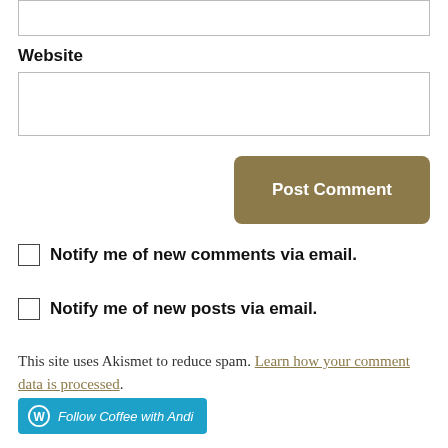[input box top]
Website
[website input field]
Post Comment
Notify me of new comments via email.
Notify me of new posts via email.
This site uses Akismet to reduce spam. Learn how your comment data is processed.
Follow Coffee with Andi